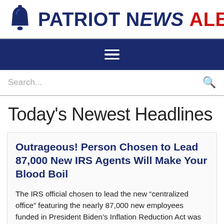PATRIOT NEWS ALERTS
Today's Newest Headlines
Outrageous! Person Chosen to Lead 87,000 New IRS Agents Will Make Your Blood Boil
The IRS official chosen to lead the new “centralized office” featuring the nearly 87,000 new employees funded in President Biden’s Inflation Reduction Act was involved in the agency’s